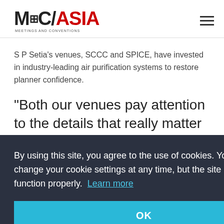MC/ASIA MEETINGS AND CONVENTIONS
S P Setia's venues, SCCC and SPICE, have invested in industry-leading air purification systems to restore planner confidence.
“Both our venues pay attention to the details that really matter when it comes to the safety of
By using this site, you agree to the use of cookies. You may change your cookie settings at any time, but the site may not function properly. Learn more
OK
“But what’s really important is that we have upgraded